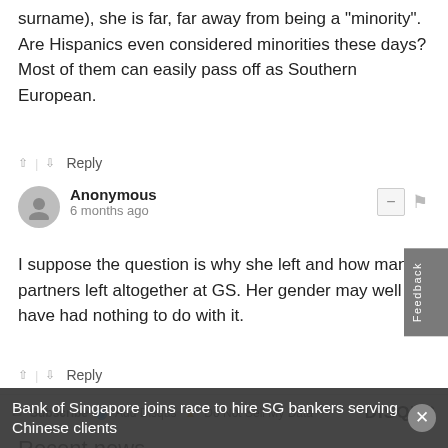surname), she is far, far away from being a "minority". Are Hispanics even considered minorities these days? Most of them can easily pass off as Southern European.
↑ | ↓  Reply
Anonymous
6 months ago
I suppose the question is why she left and how many partners left altogether at GS. Her gender may well have had nothing to do with it.
↑ | ↓  Reply
✉ Subscribe  ⊙ Add Disqus  ⚠ Do Not Sell My Data  DISQUS
Recent news
Bank of Singapore joins race to hire SG bankers serving Chinese clients